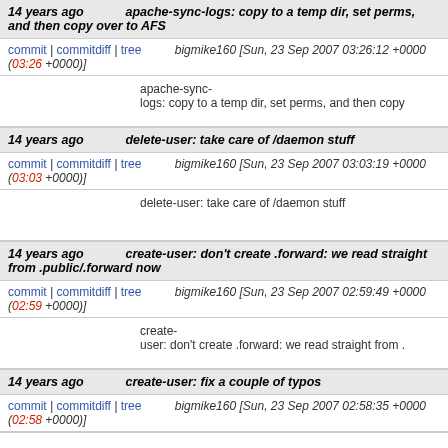14 years ago  apache-sync-logs: copy to a temp dir, set perms, and then copy over to AFS
commit | commitdiff | tree  bigmike160 [Sun, 23 Sep 2007 03:26:12 +0000 (03:26 +0000)]
apache-sync-logs: copy to a temp dir, set perms, and then copy
14 years ago  delete-user: take care of /daemon stuff
commit | commitdiff | tree  bigmike160 [Sun, 23 Sep 2007 03:03:19 +0000 (03:03 +0000)]
delete-user: take care of /daemon stuff
14 years ago  create-user: don't create .forward: we read straight from .public/.forward now
commit | commitdiff | tree  bigmike160 [Sun, 23 Sep 2007 02:59:49 +0000 (02:59 +0000)]
create-user: don't create .forward: we read straight from .
14 years ago  create-user: fix a couple of typos
commit | commitdiff | tree  bigmike160 [Sun, 23 Sep 2007 02:58:35 +0000 (02:58 +0000)]